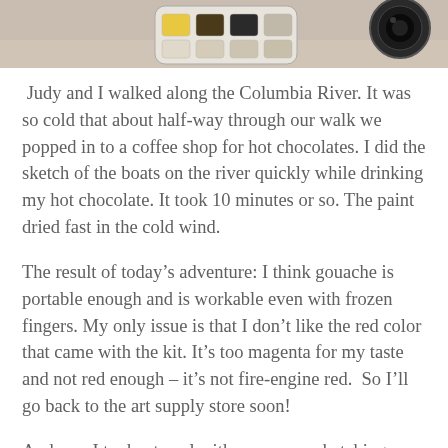[Figure (photo): Top portion of a photo showing art supplies including a paint palette with yellow and dark colors and a camera lens, on a light surface]
Judy and I walked along the Columbia River. It was so cold that about half-way through our walk we popped in to a coffee shop for hot chocolates. I did the sketch of the boats on the river quickly while drinking my hot chocolate. It took 10 minutes or so. The paint dried fast in the cold wind.
The result of today’s adventure: I think gouache is portable enough and is workable even with frozen fingers. My only issue is that I don’t like the red color that came with the kit. It’s too magenta for my taste and not red enough – it’s not fire-engine red. So I’ll go back to the art supply store soon!
And yes, I took a towel with me on my sketching outing. A paper towel. Douglas Adams would be